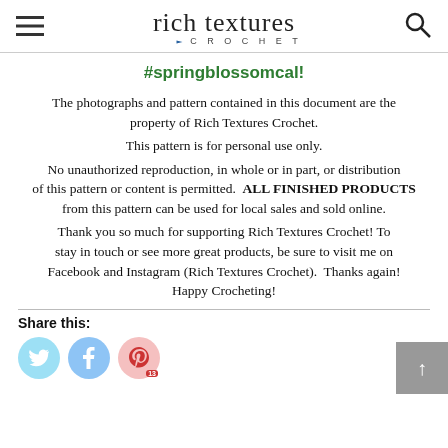rich textures CROCHET
#springblossomcal!
The photographs and pattern contained in this document are the property of Rich Textures Crochet. This pattern is for personal use only. No unauthorized reproduction, in whole or in part, or distribution of this pattern or content is permitted. ALL FINISHED PRODUCTS from this pattern can be used for local sales and sold online. Thank you so much for supporting Rich Textures Crochet! To stay in touch or see more great products, be sure to visit me on Facebook and Instagram (Rich Textures Crochet). Thanks again! Happy Crocheting!
Share this:
[Figure (other): Social sharing icons: Twitter (light blue circle), Facebook (blue circle), Pinterest (pink circle with 'P 13' label)]